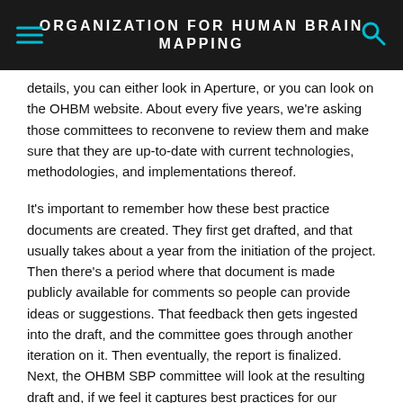ORGANIZATION FOR HUMAN BRAIN MAPPING
details, you can either look in Aperture, or you can look on the OHBM website. About every five years, we're asking those committees to reconvene to review them and make sure that they are up-to-date with current technologies, methodologies, and implementations thereof.
It's important to remember how these best practice documents are created. They first get drafted, and that usually takes about a year from the initiation of the project. Then there's a period where that document is made publicly available for comments so people can provide ideas or suggestions. That feedback then gets ingested into the draft, and the committee goes through another iteration on it. Then eventually, the report is finalized. Next, the OHBM SBP committee will look at the resulting draft and, if we feel it captures best practices for our community, make an endorsement to the OHBM Council.